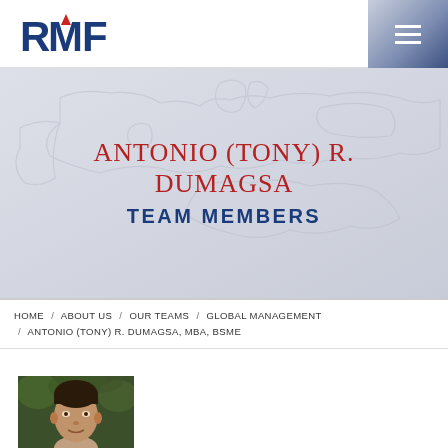RMF
ANTONIO (TONY) R. DUMAGSA
TEAM MEMBERS
HOME / ABOUT US / OUR TEAMS / GLOBAL MANAGEMENT / ANTONIO (TONY) R. DUMAGSA, MBA, BSME
[Figure (photo): Headshot photo of Antonio (Tony) R. Dumagsa, a middle-aged man with dark hair, outdoors with green foliage background]